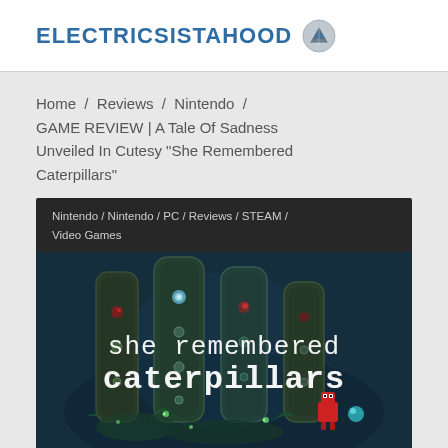ELECTRICSISTAHOOD
Home / Reviews / Nintendo / GAME REVIEW | A Tale Of Sadness Unveiled In Cutesy "She Remembered Caterpillars"
[Figure (screenshot): Game cover art for 'she remembered caterpillars' showing dark stylized mushroom-like pillars with a small red robot character, with tag bar reading 'Nintendo / Nintendo / PC / Reviews / STEAM / Video Games']